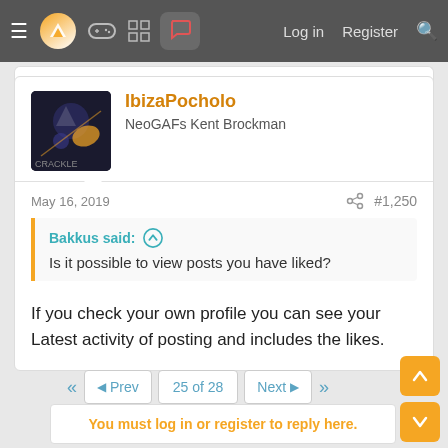Navigation bar with menu, logo, icons, Log in, Register, Search
[Figure (screenshot): User avatar image for IbizaPocholo]
IbizaPocholo
NeoGAFs Kent Brockman
May 16, 2019
#1,250
Bakkus said:
Is it possible to view posts you have liked?
If you check your own profile you can see your Latest activity of posting and includes the likes.
Prev  25 of 28  Next
You must log in or register to reply here.